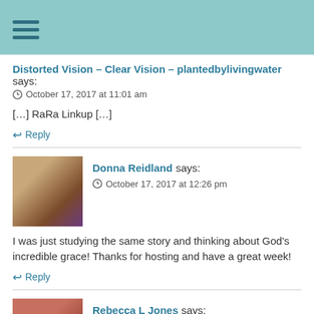Distorted Vision – Clear Vision – plantedbylivingwater says:
October 17, 2017 at 11:01 am
[…] RaRa Linkup […]
Reply
[Figure (photo): Avatar photo of Donna Reidland, a woman with short blonde hair wearing a purple top]
Donna Reidland says:
October 17, 2017 at 12:26 pm
I was just studying the same story and thinking about God's incredible grace! Thanks for hosting and have a great week!
Reply
[Figure (photo): Avatar photo of Rebecca L Jones, a woman with short reddish-brown hair]
Rebecca L Jones says: